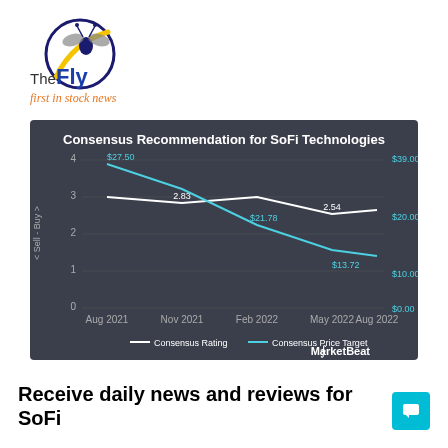[Figure (logo): The Fly logo - circular icon with a fly, text 'The Fly' in blue/yellow, tagline 'first in stock news' in orange italic]
[Figure (line-chart): Consensus Recommendation for SoFi Technologies]
Receive daily news and reviews for SoFi